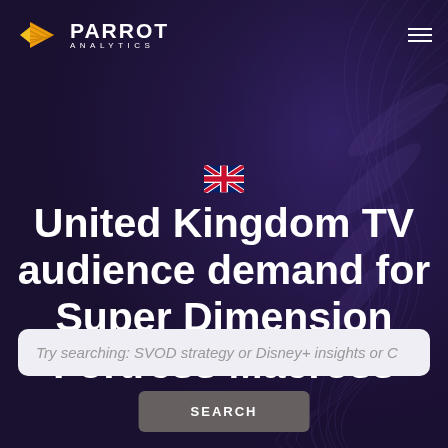PARROT ANALYTICS
[Figure (logo): Parrot Analytics logo with golden/yellow arrow icon and white text PARROT ANALYTICS]
[Figure (illustration): United Kingdom flag emoji]
United Kingdom TV audience demand for Super Dimension Fortress Macross
Try searching: SVOD strategy or Disney+ insights or C
SEARCH